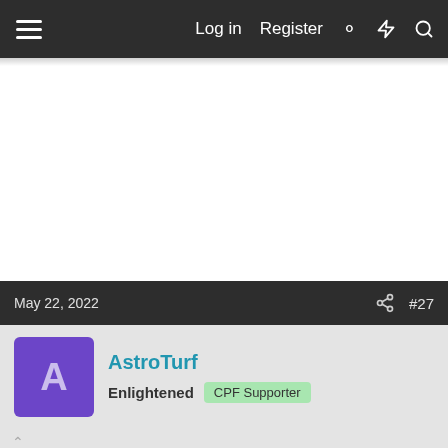Log in  Register
May 22, 2022  #27
AstroTurf
Enlightened  CPF Supporter
save fan, replace motor...